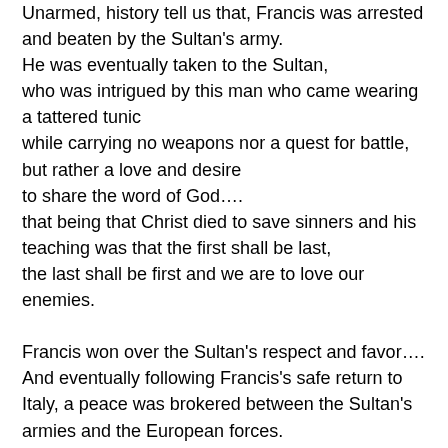Unarmed, history tell us that, Francis was arrested and beaten by the Sultan's army.
He was eventually taken to the Sultan,
who was intrigued by this man who came wearing a tattered tunic
while carrying no weapons nor a quest for battle, but rather a love and desire
to share the word of God….
that being that Christ died to save sinners and his teaching was that the first shall be last,
the last shall be first and we are to love our enemies.

Francis won over the Sultan's respect and favor….
And eventually following Francis's safe return to Italy, a peace was brokered between the Sultan's armies and the European forces.
With Jerusalem once again being open to Christian